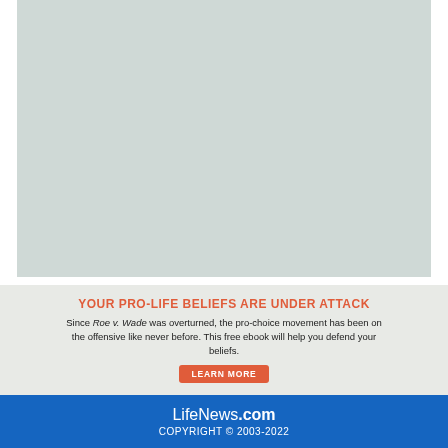[Figure (other): Light teal/grey placeholder image area]
YOUR PRO-LIFE BELIEFS ARE UNDER ATTACK
Since Roe v. Wade was overturned, the pro-choice movement has been on the offensive like never before. This free ebook will help you defend your beliefs.
LEARN MORE
LifeNews.com COPYRIGHT © 2003-2022